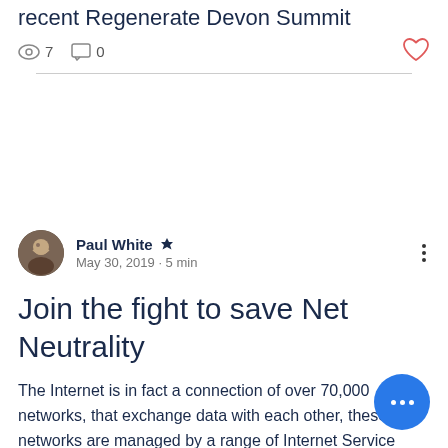recent Regenerate Devon Summit
7  0
Paul White · Admin
May 30, 2019 · 5 min
Join the fight to save Net Neutrality
The Internet is in fact a connection of over 70,000 networks, that exchange data with each other, these networks are managed by a range of Internet Service Providers, providers like YouTube and what are referred to as backbone providers that just provide